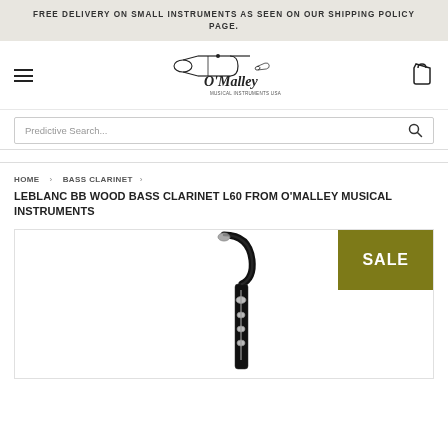FREE DELIVERY ON SMALL INSTRUMENTS AS SEEN ON OUR SHIPPING POLICY PAGE.
[Figure (logo): O'Malley Musical Instruments USA logo with trombone illustration]
Predictive Search...
HOME › BASS CLARINET ›
LEBLANC BB WOOD BASS CLARINET L60 FROM O'MALLEY MUSICAL INSTRUMENTS
[Figure (photo): Bass clarinet product photo showing upper joint and neck of a black wood bass clarinet with silver keywork, with a SALE badge in olive/dark yellow]